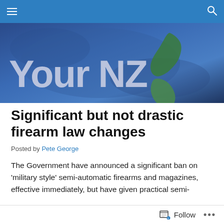Navigation bar with menu and search icons
[Figure (logo): Your NZ blog banner with text 'Your NZ' over a blue world map background with New Zealand island shape on right]
Significant but not drastic firearm law changes
Posted by Pete George
The Government have announced a significant ban on 'military style' semi-automatic firearms and magazines, effective immediately, but have given practical semi-
Follow ...